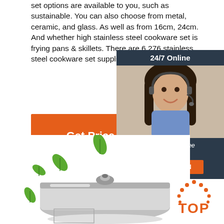set options are available to you, such as sustainable. You can also choose from metal, ceramic, and glass. As well as from 16cm, 24cm. And whether high stainless steel cookware set is frying pans & skillets. There are 6,276 stainless steel cookware set suppliers located in Asia.
[Figure (photo): Customer service representative woman with headset smiling, shown in a 24/7 Online chat widget with dark blue background, including a 'Click here for free chat!' message and an orange QUOTATION button]
[Figure (other): Orange Get Price button]
[Figure (photo): Stainless steel cookware pot with lid and green leaves decorative elements floating around it]
[Figure (logo): TOP logo with orange dots arranged in an arc above the word TOP in orange text]